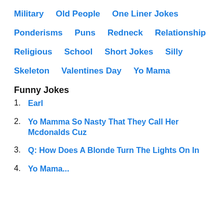Military
Old People
One Liner Jokes
Ponderisms
Puns
Redneck
Relationship
Religious
School
Short Jokes
Silly
Skeleton
Valentines Day
Yo Mama
Funny Jokes
1. Earl
2. Yo Mamma So Nasty That They Call Her Mcdonalds Cuz
3. Q: How Does A Blonde Turn The Lights On In
4. Yo Mama...